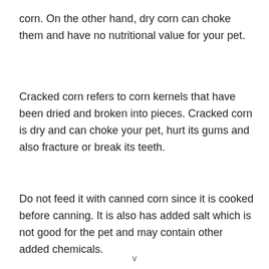corn. On the other hand, dry corn can choke them and have no nutritional value for your pet.
Cracked corn refers to corn kernels that have been dried and broken into pieces. Cracked corn is dry and can choke your pet, hurt its gums and also fracture or break its teeth.
Do not feed it with canned corn since it is cooked before canning. It is also has added salt which is not good for the pet and may contain other added chemicals.
v